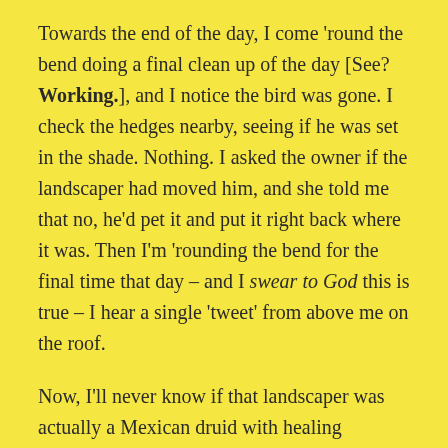Towards the end of the day, I come 'round the bend doing a final clean up of the day [See? Working.], and I notice the bird was gone. I check the hedges nearby, seeing if he was set in the shade. Nothing. I asked the owner if the landscaper had moved him, and she told me that no, he'd pet it and put it right back where it was. Then I'm 'rounding the bend for the final time that day – and I swear to God this is true – I hear a single 'tweet' from above me on the roof.
Now, I'll never know if that landscaper was actually a Mexican druid with healing abilities or not, but I'd like to imagine that the bird had just taken a massive hit to the dome, suffered a bad concussion, and just needed some time to shake the cobwebs out; and that that 'tweet' was some kind of, "Hey, buddy, thanks for not